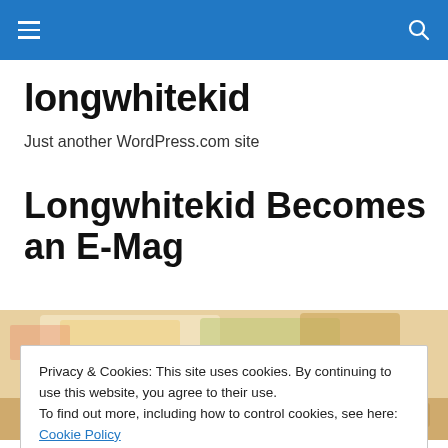longwhitekid — site navigation header bar with hamburger menu and search icon
longwhitekid
Just another WordPress.com site
Longwhitekid Becomes an E-Mag
[Figure (photo): Partial image of colorful banknotes/money, partially obscured by cookie consent banner]
Privacy & Cookies: This site uses cookies. By continuing to use this website, you agree to their use.
To find out more, including how to control cookies, see here: Cookie Policy
Close and accept